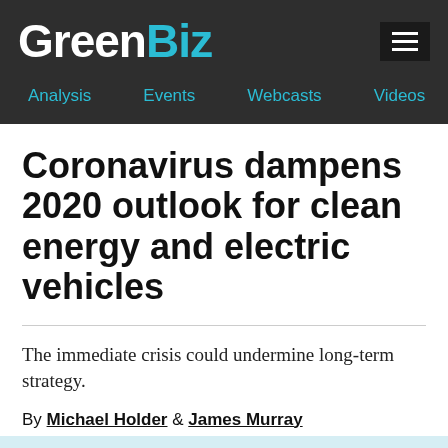GreenBiz
Analysis  Events  Webcasts  Videos
Coronavirus dampens 2020 outlook for clean energy and electric vehicles
The immediate crisis could undermine long-term strategy.
By Michael Holder & James Murray
March 17, 2020